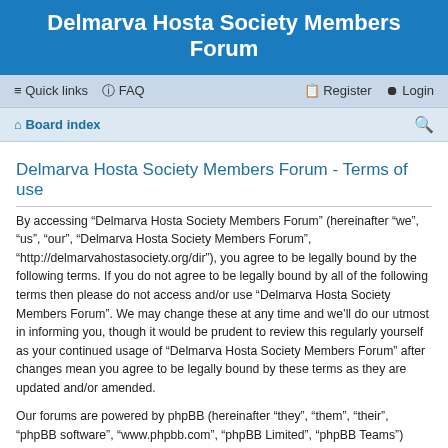Delmarva Hosta Society Members Forum
Quick links  FAQ  Register  Login
Board index
Delmarva Hosta Society Members Forum - Terms of use
By accessing “Delmarva Hosta Society Members Forum” (hereinafter “we”, “us”, “our”, “Delmarva Hosta Society Members Forum”, “http://delmarvahostasociety.org/dir”), you agree to be legally bound by the following terms. If you do not agree to be legally bound by all of the following terms then please do not access and/or use “Delmarva Hosta Society Members Forum”. We may change these at any time and we’ll do our utmost in informing you, though it would be prudent to review this regularly yourself as your continued usage of “Delmarva Hosta Society Members Forum” after changes mean you agree to be legally bound by these terms as they are updated and/or amended.
Our forums are powered by phpBB (hereinafter “they”, “them”, “their”, “phpBB software”, “www.phpbb.com”, “phpBB Limited”, “phpBB Teams”) which is a bulletin board solution released under the “GNU General Public License v2” (hereinafter “GPL”) and can be downloaded from www.phpbb.com. The phpBB software only facilitates internet based discussions; phpBB Limited is not responsible for what we allow and/or disallow as permissible content and/or conduct. For further information about phpBB, please see: